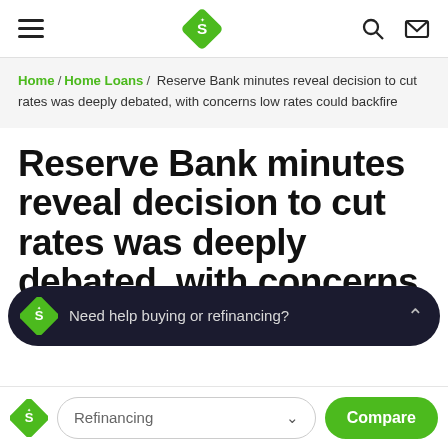Navigation bar with hamburger menu, Savvy logo, search and mail icons
Home / Home Loans / Reserve Bank minutes reveal decision to cut rates was deeply debated, with concerns low rates could backfire
Reserve Bank minutes reveal decision to cut rates was deeply debated, with concerns low rates could backfire
Need help buying or refinancing?
Refinancing  Compare